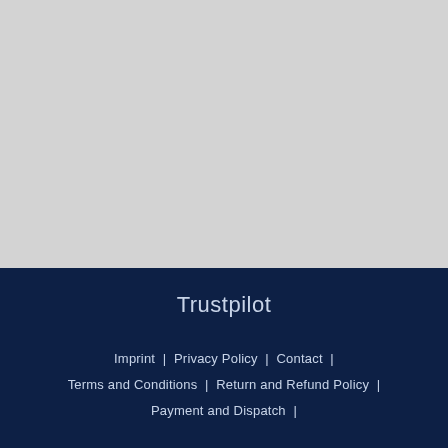[Figure (other): Light gray placeholder/blank image area occupying the top portion of the page]
Trustpilot
Imprint  |  Privacy Policy  |  Contact  |  Terms and Conditions  |  Return and Refund Policy  |  Payment and Dispatch  |